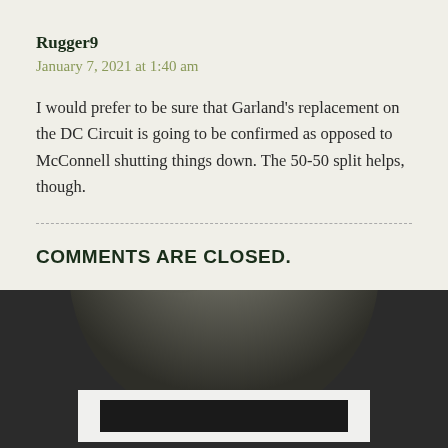Rugger9
January 7, 2021 at 1:40 am
I would prefer to be sure that Garland's replacement on the DC Circuit is going to be confirmed as opposed to McConnell shutting things down. The 50-50 split helps, though.
COMMENTS ARE CLOSED.
[Figure (photo): Bottom portion of page showing a dark background with a partially visible circular gray stone or moon-like object at the top, and a white rectangle with a dark bar inside it below.]